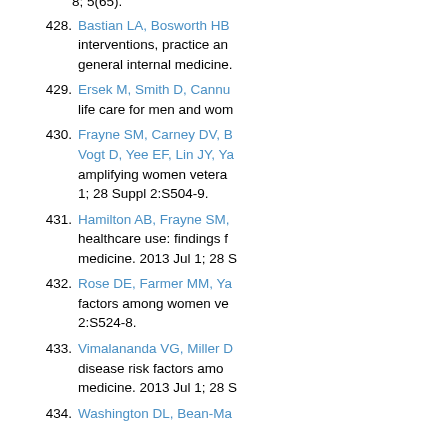8; 5(65).
428. Bastian LA, Bosworth HB... interventions, practice and general internal medicine...
429. Ersek M, Smith D, Cannu... life care for men and wom...
430. Frayne SM, Carney DV, B... Vogt D, Yee EF, Lin JY, Ya... amplifying women vetera... 1; 28 Suppl 2:S504-9.
431. Hamilton AB, Frayne SM,... healthcare use: findings f... medicine. 2013 Jul 1; 28 S...
432. Rose DE, Farmer MM, Ya... factors among women ve... 2:S524-8.
433. Vimalananda VG, Miller D... disease risk factors amo... medicine. 2013 Jul 1; 28 S...
434. Washington DL, Bean-Ma...